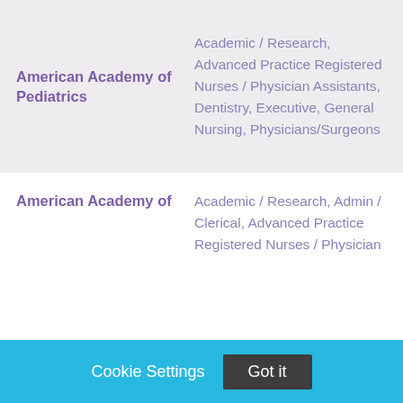| Organization | Categories |
| --- | --- |
| American Academy of Pediatrics | Academic / Research, Advanced Practice Registered Nurses / Physician Assistants, Dentistry, Executive, General Nursing, Physicians/Surgeons |
| American Academy of | Academic / Research, Admin / Clerical, Advanced Practice Registered Nurses / Physician |
Cookie Settings   Got it
We use cookies so that we can remember you and understand how you use our site. If you do not agree with our use of cookies, please change the current settings found in our Cookie Policy. Otherwise, you agree to the use of the cookies as they are currently set.